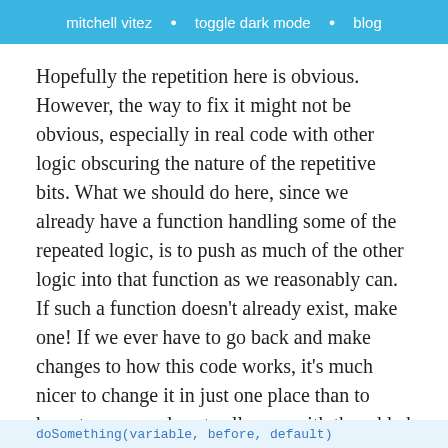mitchell vitez • toggle dark mode • blog
Hopefully the repetition here is obvious. However, the way to fix it might not be obvious, especially in real code with other logic obscuring the nature of the repetitive bits. What we should do here, since we already have a function handling some of the repeated logic, is to push as much of the other logic into that function as we reasonably can. If such a function doesn't already exist, make one! If we ever have to go back and make changes to how this code works, it's much nicer to change it in just one place than to have to copy and paste all over, with the added risk of missing one of the changes.